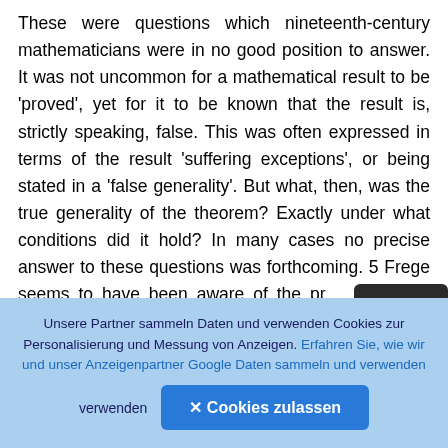These were questions which nineteenth-century mathematicians were in no good position to answer. It was not uncommon for a mathematical result to be 'proved', yet for it to be known that the result is, strictly speaking, false. This was often expressed in terms of the result 'suffering exceptions', or being stated in a 'false generality'. But what, then, was the true generality of the theorem? Exactly under what conditions did it hold? In many cases no precise answer to these questions was forthcoming. 5 Frege seems to have been aware of the pr... of the relation between proof and theorem. ...passage just quoted he mentions the increased tendency towards 'precise delimitation of extent of validity' and a little further on he says:
[Figure (other): Dark rounded button with a circular arrow/upload icon (navigation or camera roll icon)]
Unsere Partner sammeln Daten und verwenden Cookies zur Personalisierung und Messung von Anzeigen. Erfahren Sie, wie wir und unser Anzeigenpartner Google Daten sammeln und verwenden
✕ Cookies zulassen